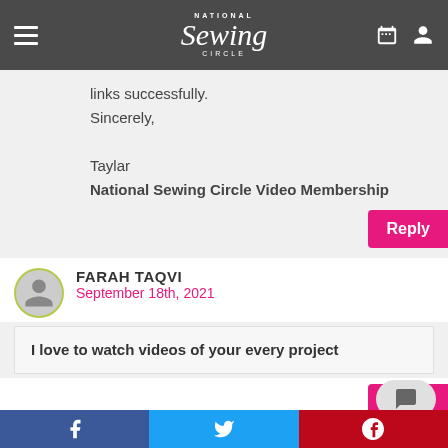National Sewing Circle
links successfully.
Sincerely,

Taylar
National Sewing Circle Video Membership
Reply
FARAH TAQVI
September 18th, 2021
I love to watch videos of your every project
Reply
Patricia Herring
February 7th, 2020